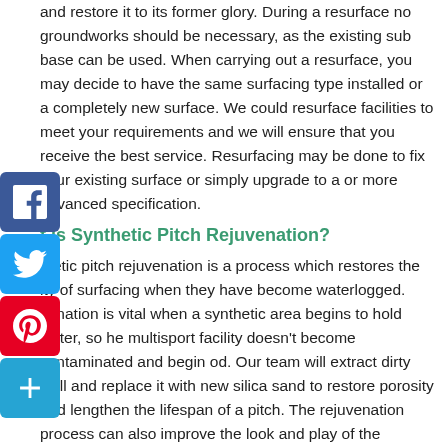and restore it to its former glory. During a resurface no groundworks should be necessary, as the existing sub base can be used. When carrying out a resurface, you may decide to have the same surfacing type installed or a completely new surface. We could resurface facilities to meet your requirements and we will ensure that you receive the best service. Resurfacing may be done to fix your existing surface or simply upgrade to a or more advanced specification.
What is Synthetic Pitch Rejuvenation?
Synthetic pitch rejuvenation is a process which restores the quality of surfacing when they have become waterlogged. Rejuvenation is vital when a synthetic area begins to hold water, so the multisport facility doesn't become contaminated and begin to go mouldy. Our team will extract dirty infill and replace it with new silica sand to restore porosity and lengthen the lifespan of a pitch. The rejuvenation process can also improve the look and play of the MUGA, enhancing performance properties. We even complete recycled rejuvenation; this is where we remove the contaminated infill and deep clean the surface. For more information on synthetic pitch rejuvenation, please do not hesitate to contact us.